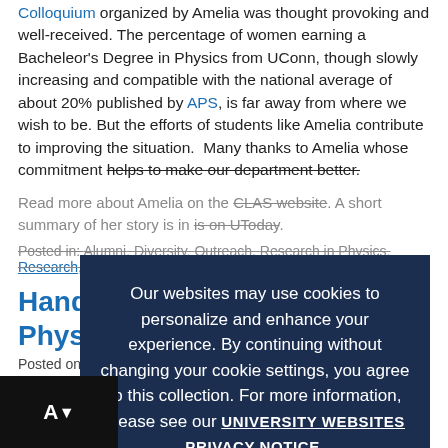Colloquium organized by Amelia was thought provoking and well-received. The percentage of women earning a Bacheleor's Degree in Physics from UConn, though slowly increasing and compatible with the national average of about 20% published by APS, is far away from where we wish to be. But the efforts of students like Amelia contribute to improving the situation.  Many thanks to Amelia whose commitment helps to make our department better.
Read more about Amelia on the CLAS website. A short summary of her story is in is on UToday.
Posted in: Alumni, Diversity, Outreach, Research in Physics, Research, Undergraduate
Hands-On Approach to Physics
Posted on November 29, 2018
...into a fall 2018 class of PHYS 1602: Fundamentals of Physics II, and you'll find a scene that's far from the large introductory classroom often associated...
[Figure (screenshot): Cookie consent overlay with dark navy background. Text reads: 'Our websites may use cookies to personalize and enhance your experience. By continuing without changing your cookie settings, you agree to this collection. For more information, please see our UNIVERSITY WEBSITES PRIVACY NOTICE.' Blue OK button with checkmark at bottom.]